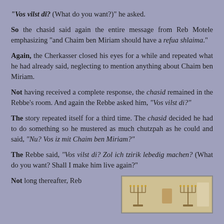“Vos vilst di? (What do you want?)” he asked.
So the chasid said again the entire message from Reb Motele emphasizing “and Chaim ben Miriam should have a refua shlaima.”
Again, the Cherkasser closed his eyes for a while and repeated what he had already said, neglecting to mention anything about Chaim ben Miriam.
Not having received a complete response, the chasid remained in the Rebbe’s room. And again the Rebbe asked him, "Vos vilst di?"
The story repeated itself for a third time. The chasid decided he had to do something so he mustered as much chutzpah as he could and said, “Nu? Vos iz mit Chaim ben Miriam?”
The Rebbe said, "Vos vilst di? Zol ich tzirik lebedig machen? (What do you want? Shall I make him live again?"
Not long thereafter, Reb
[Figure (photo): Photo of religious/ceremonial objects, appears to show menorahs or candelabras and other items]